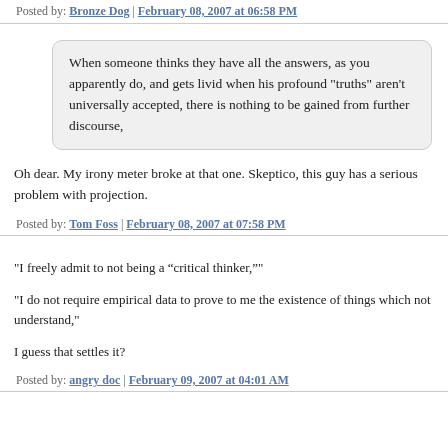Posted by: Bronze Dog | February 08, 2007 at 06:58 PM
When someone thinks they have all the answers, as you apparently do, and gets livid when his profound "truths" aren't universally accepted, there is nothing to be gained from further discourse,
Oh dear. My irony meter broke at that one. Skeptico, this guy has a serious problem with projection.
Posted by: Tom Foss | February 08, 2007 at 07:58 PM
"I freely admit to not being a “critical thinker,”"
"I do not require empirical data to prove to me the existence of things which not understand,"
I guess that settles it?
Posted by: angry doc | February 09, 2007 at 04:01 AM